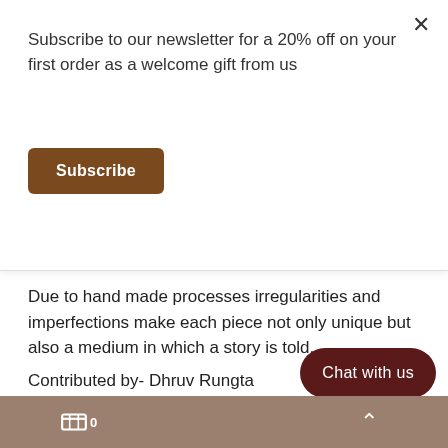Subscribe to our newsletter for a 20% off on your first order as a welcome gift from us
Subscribe
Due to hand made processes irregularities and imperfections make each piece not only unique but also a medium in which a story is told...
Contributed by- Dhruv Rungta
Sep 08, 2020 • News • Comments: 0
BANDHANI  GIFT  HANDMADE  LUXURY
SHIRORI  SILK  TIE DYE  WRAP
Chat with us